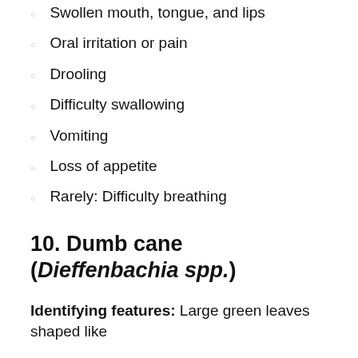Swollen mouth, tongue, and lips
Oral irritation or pain
Drooling
Difficulty swallowing
Vomiting
Loss of appetite
Rarely: Difficulty breathing
10. Dumb cane (Dieffenbachia spp.)
Identifying features: Large green leaves shaped like a canoe, with top and deep white markings that